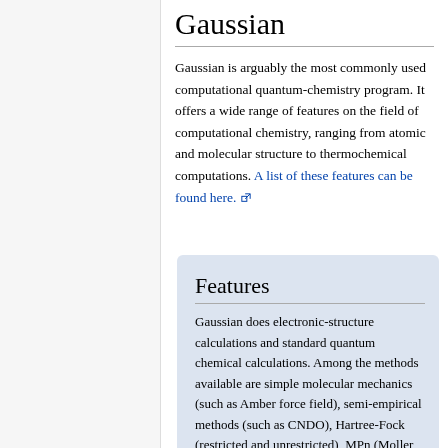Gaussian
Gaussian is arguably the most commonly used computational quantum-chemistry program. It offers a wide range of features on the field of computational chemistry, ranging from atomic and molecular structure to thermochemical computations. A list of these features can be found here.
Features
Gaussian does electronic-structure calculations and standard quantum chemical calculations. Among the methods available are simple molecular mechanics (such as Amber force field), semi-empirical methods (such as CNDO), Hartree-Fock (restricted and unrestricted), MPn (Moller